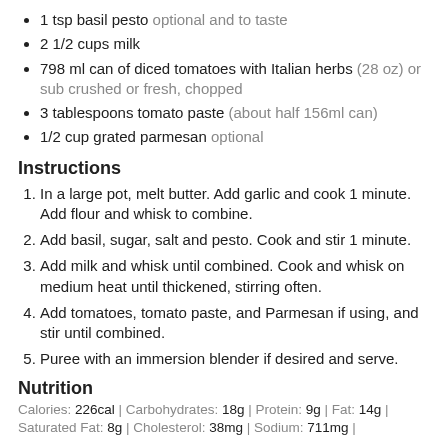1 tsp basil pesto optional and to taste
2 1/2 cups milk
798 ml can of diced tomatoes with Italian herbs (28 oz) or sub crushed or fresh, chopped
3 tablespoons tomato paste (about half 156ml can)
1/2 cup grated parmesan optional
Instructions
1. In a large pot, melt butter. Add garlic and cook 1 minute. Add flour and whisk to combine.
2. Add basil, sugar, salt and pesto. Cook and stir 1 minute.
3. Add milk and whisk until combined. Cook and whisk on medium heat until thickened, stirring often.
4. Add tomatoes, tomato paste, and Parmesan if using, and stir until combined.
5. Puree with an immersion blender if desired and serve.
Nutrition
Calories: 226cal | Carbohydrates: 18g | Protein: 9g | Fat: 14g | Saturated Fat: 8g | Cholesterol: 38mg | Sodium: 711mg |